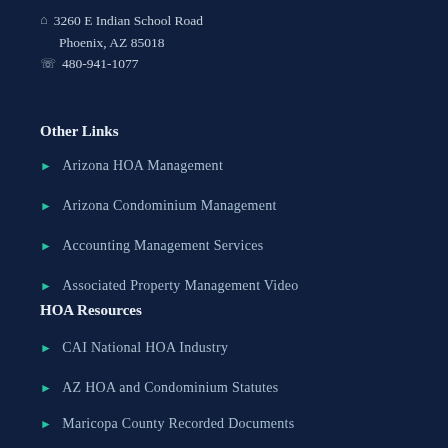🏠 3260 E Indian School Road Phoenix, AZ 85018 📞 480-941-1077
Other Links
Arizona HOA Management
Arizona Condominium Management
Accounting Management Services
Associated Property Management Video
HOA Resources
CAI National HOA Industry
AZ HOA and Condominium Statutes
Maricopa County Recorded Documents